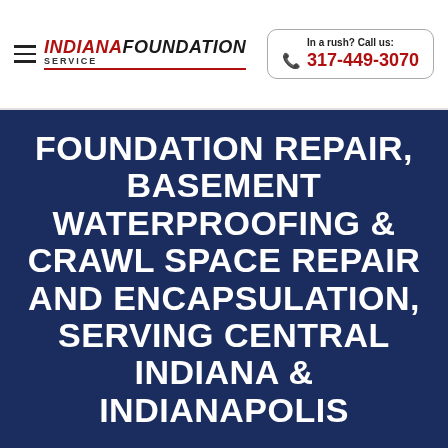Indiana Foundation Service | In a rush? Call us: 317-449-3070
FOUNDATION REPAIR, BASEMENT WATERPROOFING & CRAWL SPACE REPAIR AND ENCAPSULATION, SERVING CENTRAL INDIANA & INDIANAPOLIS
Indianapolis, IN
624 North Front Street
Whiteland, IN 46184